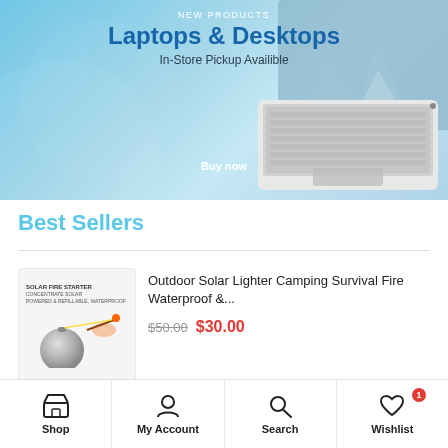[Figure (screenshot): Promotional banner for Laptops & Desktops with light blue background and laptop image on right side]
Best Sellers
[Figure (photo): Solar Fire Starter product image showing a spherical solar lighter device with a hand holding a match]
Outdoor Solar Lighter Camping Survival Fire Waterproof &...
$50.00 $30.00
Shop  My Account  Search  Wishlist